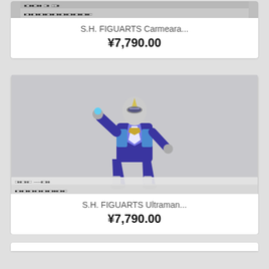[Figure (screenshot): Partial product card top showing barcode/text strip for S.H. FIGUARTS Carmeara product]
S.H. FIGUARTS Carmeara...
¥7,790.00
[Figure (photo): Action figure of Ultraman in blue and silver suit with purple accents, posed in wide stance with one hand raised, on grey background. Bottom shows barcode/text strips.]
S.H. FIGUARTS Ultraman...
¥7,790.00
[Figure (screenshot): Bottom stub of another product card partially visible]